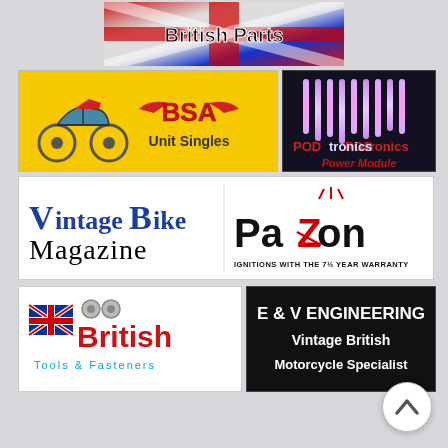[Figure (logo): British Parts banner with Union Jack flag background and bold black text reading 'British Parts']
[Figure (logo): BSA Unit Singles logo on yellow background with motorcycle image and red BSA brand text]
[Figure (logo): PODtronics Power Module logo on dark background with red and purple text and vertical lines graphic]
[Figure (logo): Vintage Bike Magazine logo with blue serif text alongside Pazon ignitions logo with tagline 'IGNITIONS WITH THE 7½ YEAR WARRANTY']
[Figure (logo): British Tools & Fasteners logo with Union Jack flag, red bold text and cyan subtitle]
[Figure (logo): E & V Engineering black panel with white text: 'Vintage British Motorcycle Specialist']